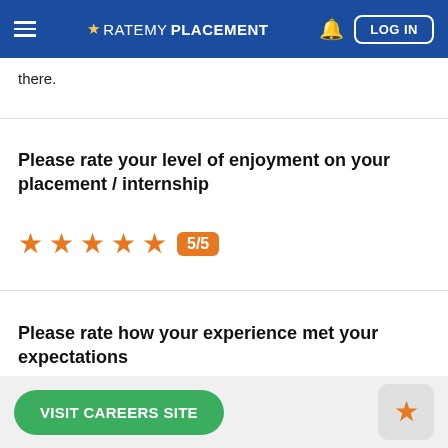RATEMYPLACEMENT — LOG IN
there.
Please rate your level of enjoyment on your placement / internship
5/5 stars
Please rate how your experience met your expectations
VISIT CAREERS SITE